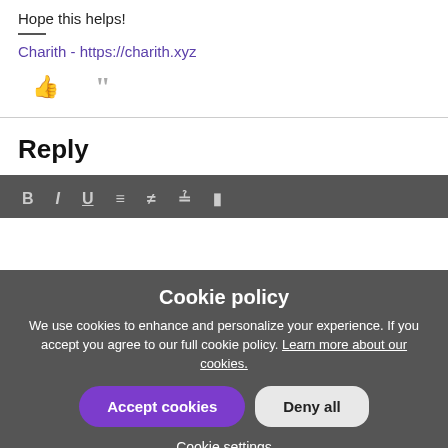Hope this helps!
Charith - https://charith.xyz
[Figure (screenshot): Thumbs up and quote icons in gray]
Reply
[Figure (screenshot): Text editor toolbar with B, I, U, alignment, and other formatting icons on dark gray background]
[Figure (infographic): Cookie policy modal overlay with title, description text, Accept cookies button (purple), Deny all button (light), and Cookie settings link]
Cookie policy
We use cookies to enhance and personalize your experience. If you accept you agree to our full cookie policy. Learn more about our cookies.
Accept cookies
Deny all
Cookie settings